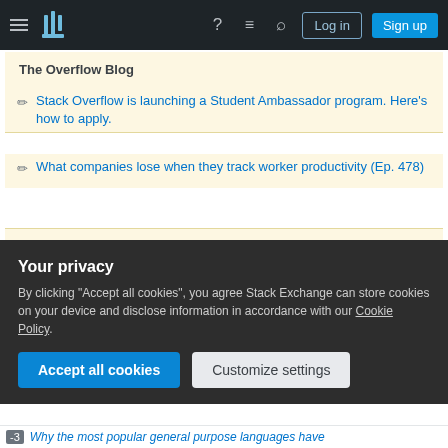Stack Overflow navigation bar with Log in and Sign up buttons
The Overflow Blog
Stack Overflow is launching a Student Ambassador program. Here's how to apply.
What companies lose when they track worker productivity (Ep. 478)
Featured on Meta
Please welcome Valued Associate #1301 - Emerson
Your privacy
By clicking "Accept all cookies", you agree Stack Exchange can store cookies on your device and disclose information in accordance with our Cookie Policy.
Accept all cookies   Customize settings
-3   Why the most popular general purpose languages have...